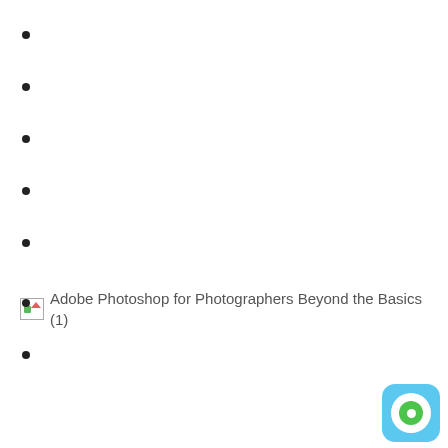[Figure (illustration): Broken image placeholder with text: Adobe Photoshop for Photographers Beyond the Basics (1)]